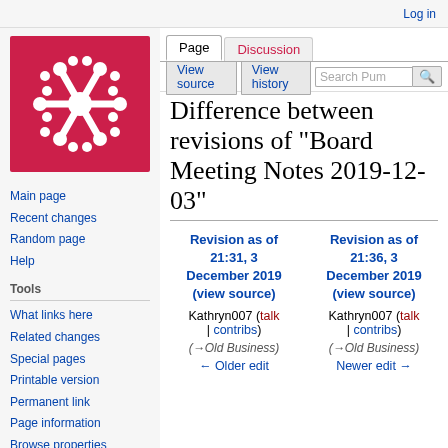Log in
[Figure (logo): Pumpio wiki logo — white snowflake-like icon on red background]
Main page
Recent changes
Random page
Help
Tools
What links here
Related changes
Special pages
Printable version
Permanent link
Page information
Browse properties
Difference between revisions of "Board Meeting Notes 2019-12-03"
| Revision as of 21:31, 3 December 2019 (view source) | Revision as of 21:36, 3 December 2019 (view source) |
| --- | --- |
| Kathryn007 (talk | contribs) | Kathryn007 (talk | contribs) |
| (→Old Business) | (→Old Business) |
| ← Older edit | Newer edit → |